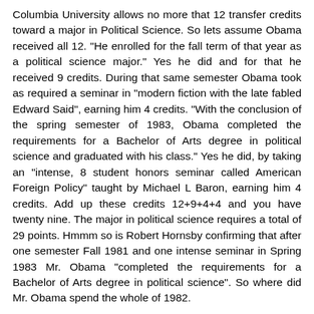Columbia University allows no more that 12 transfer credits toward a major in Political Science. So lets assume Obama received all 12. "He enrolled for the fall term of that year as a political science major." Yes he did and for that he received 9 credits. During that same semester Obama took as required a seminar in "modern fiction with the late fabled Edward Said", earning him 4 credits. "With the conclusion of the spring semester of 1983, Obama completed the requirements for a Bachelor of Arts degree in political science and graduated with his class." Yes he did, by taking an "intense, 8 student honors seminar called American Foreign Policy" taught by Michael L Baron, earning him 4 credits. Add up these credits 12+9+4+4 and you have twenty nine. The major in political science requires a total of 29 points. Hmmm so is Robert Hornsby confirming that after one semester Fall 1981 and one intense seminar in Spring 1983 Mr. Obama "completed the requirements for a Bachelor of Arts degree in political science". So where did Mr. Obama spend the whole of 1982.
Columbia University Directory: Several addresses in New York and Honolulu are not evidence that Mr. Obama